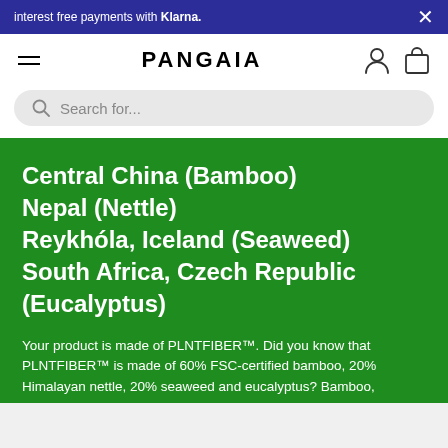interest free payments with Klarna.
PANGAIA
Search for...
Central China (Bamboo)
Nepal (Nettle)
Reykhóla, Iceland (Seaweed)
South Africa, Czech Republic (Eucalyptus)
Your product is made of PLNTFIBER™. Did you know that PLNTFIBER™ is made of 60% FSC-certified bamboo, 20% Himalayan nettle, 20% seaweed and eucalyptus? Bamboo, Himalayan nettle and eucalyptus don't require any pesticides, fertilizers or additional water to what the natural environment offers.